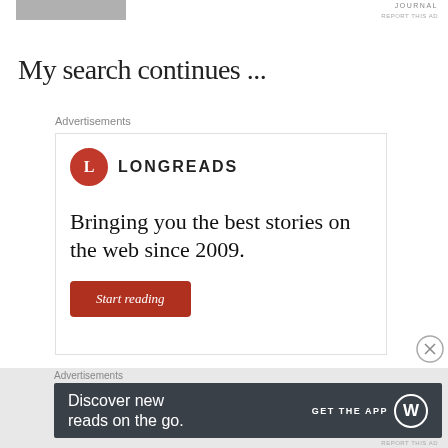[Figure (photo): Partial photo of a person visible at top left, cropped]
JOURNAL
REPORT THIS AD
My search continues ...
Advertisements
[Figure (infographic): Longreads advertisement: logo with red circle L and LONGREADS text. Tagline: Bringing you the best stories on the web since 2009. Red button: Start reading.]
Advertisements
[Figure (infographic): Dark gray advertisement banner: Discover new reads on the go. GET THE APP with WordPress logo circle.]